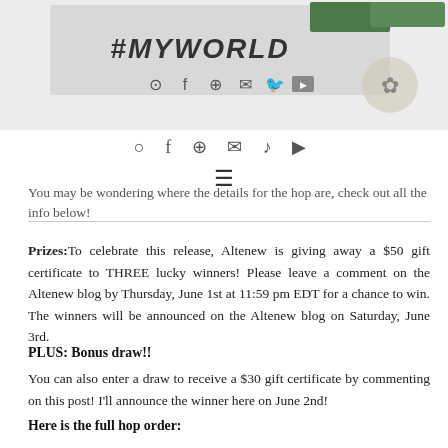[Figure (photo): Header image showing a blog header with '#MYWORLD' text in handwritten style, social media icons (Instagram, Facebook, Pinterest, email, Twitter, YouTube), and decorative elements on a light background.]
You may be wondering where the details for the hop are, check out all the info below!
Prizes: To celebrate this release, Altenew is giving away a $50 gift certificate to THREE lucky winners! Please leave a comment on the Altenew blog by Thursday, June 1st at 11:59 pm EDT for a chance to win. The winners will be announced on the Altenew blog on Saturday, June 3rd.
PLUS: Bonus draw!!
You can also enter a draw to receive a $30 gift certificate by commenting on this post! I'll announce the winner here on June 2nd!
Here is the full hop order: